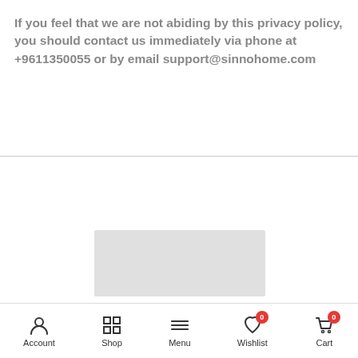If you feel that we are not abiding by this privacy policy, you should contact us immediately via phone at +9611350055 or by email support@sinnohome.com
[Figure (other): Gray rectangular placeholder box in the center of the page]
Hamra . Omar Abdulaziz Avenue . Piccadilly Building Beirut . LEBANON
Account  Shop  Menu  Wishlist 0  Cart 0